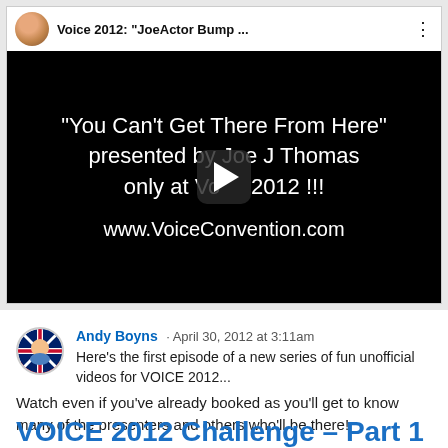[Figure (screenshot): Embedded YouTube video player showing a video titled 'Voice 2012: JoeActor Bump...' with black background displaying text: '"You Can't Get There From Here" presented by Joe J Thomas only at Voice 2012 !!! www.VoiceConvention.com' with a play button overlay.]
Andy Boyns · April 30, 2012 at 3:11am
Here's the first episode of a new series of fun unofficial videos for VOICE 2012...
Watch even if you've already booked as you'll get to know many of the presenters and others who'll be there!
VOICE 2012 Challenge – Part 1